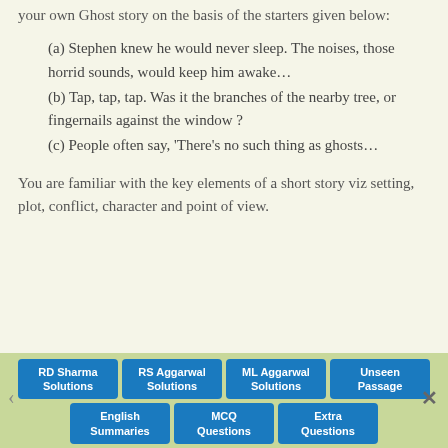your own Ghost story on the basis of the starters given below:
(a) Stephen knew he would never sleep. The noises, those horrid sounds, would keep him awake…
(b) Tap, tap, tap. Was it the branches of the nearby tree, or fingernails against the window ?
(c) People often say, 'There's no such thing as ghosts…
You are familiar with the key elements of a short story viz setting, plot, conflict, character and point of view.
RD Sharma Solutions | RS Aggarwal Solutions | ML Aggarwal Solutions | Unseen Passage | English Summaries | MCQ Questions | Extra Questions